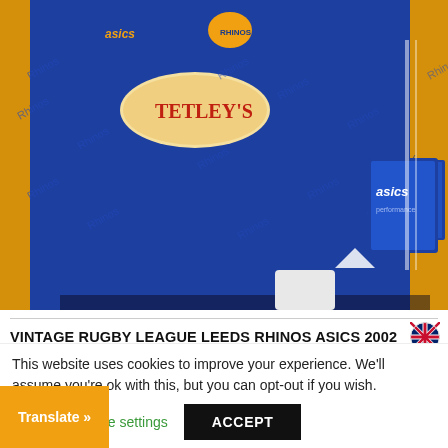[Figure (photo): Blue rugby jerseys with Tetley's sponsor logo and Asics branding on display. Two jerseys visible - one facing front with yellow collar, one facing back. An Asics branded tag/label hangs from the middle jersey.]
VINTAGE RUGBY LEAGUE LEEDS RHINOS ASICS 2002 HOME SUPER LEAGUE SHIRT JERSEY
Rugby League Shirt & Others, Rugby Union Shirts & Others
£20.00
This website uses cookies to improve your experience. We'll assume you're ok with this, but you can opt-out if you wish.
Cookie settings
ACCEPT
Translate »